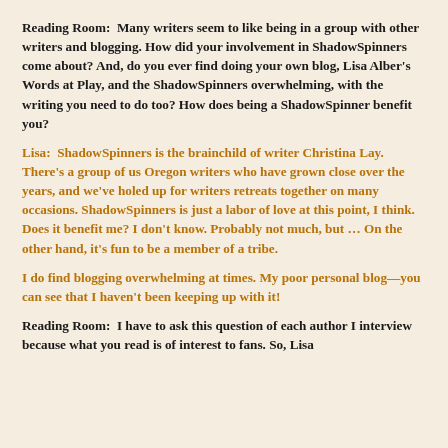Reading Room:  Many writers seem to like being in a group with other writers and blogging. How did your involvement in ShadowSpinners come about? And, do you ever find doing your own blog, Lisa Alber's Words at Play, and the ShadowSpinners overwhelming, with the writing you need to do too? How does being a ShadowSpinner benefit you?
Lisa:  ShadowSpinners is the brainchild of writer Christina Lay. There's a group of us Oregon writers who have grown close over the years, and we've holed up for writers retreats together on many occasions. ShadowSpinners is just a labor of love at this point, I think. Does it benefit me? I don't know. Probably not much, but … On the other hand, it's fun to be a member of a tribe.
I do find blogging overwhelming at times. My poor personal blog—you can see that I haven't been keeping up with it!
Reading Room:  I have to ask this question of each author I interview because what you read is of interest to fans. So, Lisa